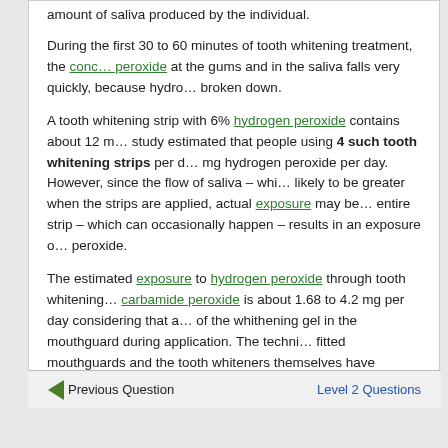amount of saliva produced by the individual.
During the first 30 to 60 minutes of tooth whitening treatment, the concentration of hydrogen peroxide at the gums and in the saliva falls very quickly, because hydrogen peroxide is broken down.
A tooth whitening strip with 6% hydrogen peroxide contains about 12 mg. One study estimated that people using 4 such tooth whitening strips per day ingested 1.68 mg hydrogen peroxide per day. However, since the flow of saliva – which would be likely to be greater when the strips are applied, actual exposure may be less. Swallowing the entire strip – which can occasionally happen – results in an exposure of about 12 mg of hydrogen peroxide.
The estimated exposure to hydrogen peroxide through tooth whitening using carbamide peroxide is about 1.68 to 4.2 mg per day considering that a small amount of the whithening gel in the mouthguard during application. The technology of the fitted mouthguards and the tooth whiteners themselves have improved so that newer treatments use a smaller amount of whitener than older methods.
Total amount of hydrogen peroxide swallowed appears to be similar for strips and mouthguards. More...
Previous Question    Level 2 Questions